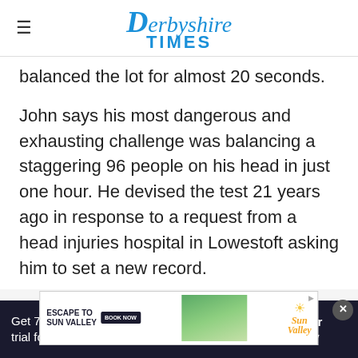Derbyshire Times
balanced the lot for almost 20 seconds.
John says his most dangerous and exhausting challenge was balancing a staggering 96 people on his head in just one hour. He devised the test 21 years ago in response to a request from a head injuries hospital in Lowestoft asking him to set a new record.
He sa... I had to balance them and walk 10ft hands-free
[Figure (screenshot): Sun Valley advertisement banner: 'ESCAPE TO SUN VALLEY' with BOOK NOW button, scenic photo, and Sun Valley logo with sun icon]
Get 70% fewer ads. Start your 2-month trial for just £2 per month
Subscribe Today